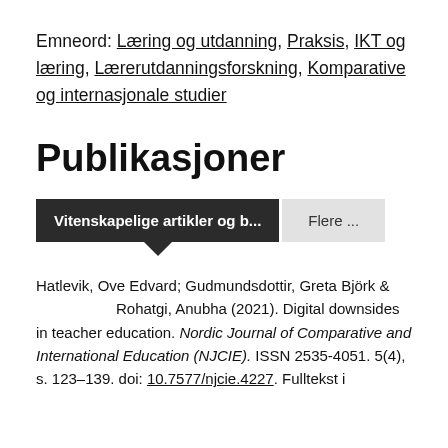Emneord: Læring og utdanning, Praksis, IKT og læring, Lærerutdanningsforskning, Komparative og internasjonale studier
Publikasjoner
Vitenskapelige artikler og b... | Flere ...
Hatlevik, Ove Edvard; Gudmundsdottir, Greta Björk & Rohatgi, Anubha (2021). Digital downsides in teacher education. Nordic Journal of Comparative and International Education (NJCIE). ISSN 2535-4051. 5(4), s. 123–139. doi: 10.7577/njcie.4227. Fulltekst i